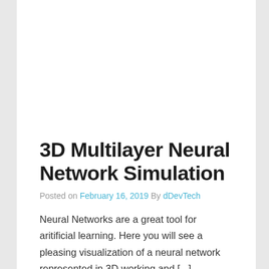3D Multilayer Neural Network Simulation
Posted on February 16, 2019 By dDevTech
Neural Networks are a great tool for aritificial learning. Here you will see a pleasing visualization of a neural network represented in 3D working and [...]
Continue reading »